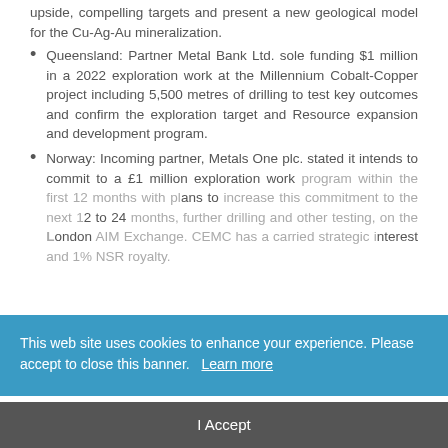upside, compelling targets and present a new geological model for the Cu-Ag-Au mineralization.
Queensland: Partner Metal Bank Ltd. sole funding $1 million in a 2022 exploration work at the Millennium Cobalt-Copper project including 5,500 metres of drilling to test key outcomes and confirm the exploration target and Resource expansion and development program.
Norway: Incoming partner, Metals One plc. stated it intends to commit to a £1 million exploration work program within the first 12 months with plans to increase this commitment to the next 12 to 24 months, further drilling and other testing, on the London AIM Exchange. CEMC has a carried strategic interest and 1% NSR royalty.
This web site uses cookies to enhance your experience. Please accept to close this banner. Learn more
I Accept
Ongoing Corporate Deliverables: